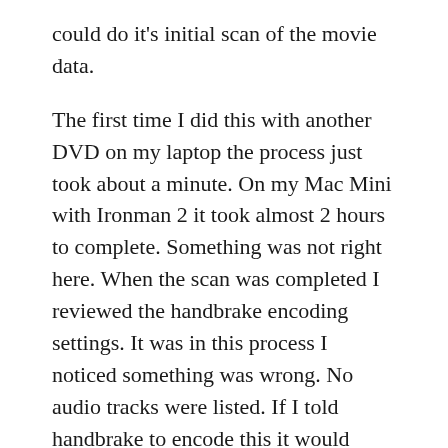could do it's initial scan of the movie data. The first time I did this with another DVD on my laptop the process just took about a minute. On my Mac Mini with Ironman 2 it took almost 2 hours to complete. Something was not right here. When the scan was completed I reviewed the handbrake encoding settings. It was in this process I noticed something was wrong. No audio tracks were listed. If I told handbrake to encode this it would encode the movie without the audio. I went to Google for help and started searching around to see if other people had this problem. Sure enough they did. Ironman 2 has new/different copy protection on it preventing me from encoding the movie I owned.